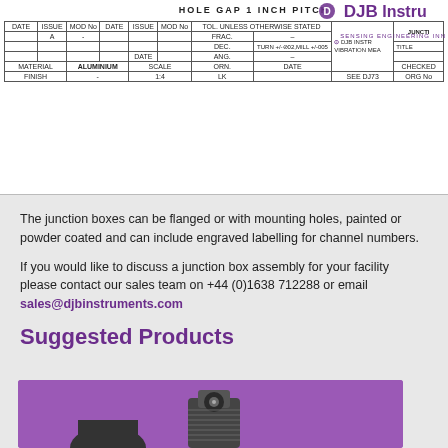[Figure (engineering-diagram): Engineering drawing title block showing 'HOLE GAP 1 INCH PITCH' with DJB Instruments logo, tolerance table with fields for DATE, ISSUE, MOD No, FRAC, DEC, ANG, MATERIAL (ALUMINIUM), FINISH (-), SCALE 1:4, ORN LK, DATE CHECKED SEE DJ73]
The junction boxes can be flanged or with mounting holes, painted or powder coated and can include engraved labelling for channel numbers.
If you would like to discuss a junction box assembly for your facility please contact our sales team on +44 (0)1638 712288 or email sales@djbinstruments.com
Suggested Products
[Figure (photo): Photo of a sensor/accelerometer connector on a purple background]